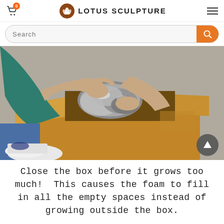LOTUS SCULPTURE
[Figure (photo): Person in teal sweatshirt and white sneakers reaching into an open cardboard box filled with shiny metallic foam expanding material, on a concrete floor.]
Close the box before it grows too much!  This causes the foam to fill in all the empty spaces instead of growing outside the box.